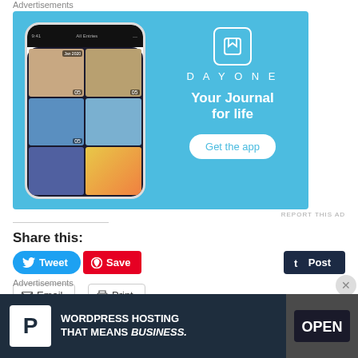Advertisements
[Figure (photo): DayOne app advertisement banner with blue background, phone mockup showing journal app, logo icon, text 'DAYONE Your Journal for life' and 'Get the app' button]
REPORT THIS AD
Share this:
Tweet
Save
Post
Email
Print
Advertisements
[Figure (photo): Pressable WordPress hosting advertisement: dark navy background with white P icon and text 'WORDPRESS HOSTING THAT MEANS BUSINESS.' with photo of OPEN sign on right]